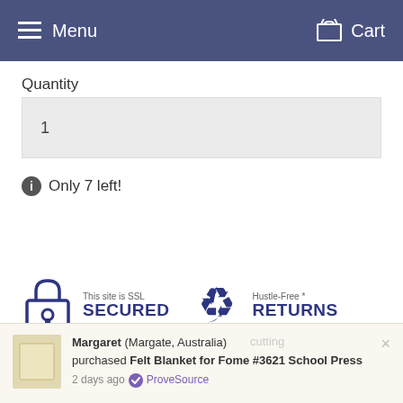Menu  Cart
Quantity
1
Only 7 left!
[Figure (infographic): SSL Secured badge with padlock icon and text 'This site is SSL SECURED', and Hustle-Free Returns badge with recycling arrows icon and text 'Hustle-Free * RETURNS']
Margaret (Margate, Australia) purchased Felt Blanket for Fome #3621 School Press 2 days ago  ProveSource